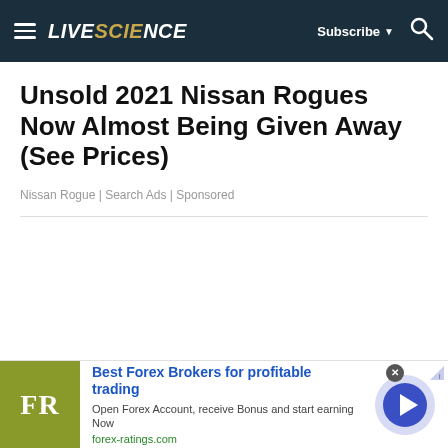LIVESCIENCE | Subscribe | Search
Unsold 2021 Nissan Rogues Now Almost Being Given Away (See Prices)
Nissan Rogue | Search Ads | Sponsored
[Figure (infographic): Large empty white content area below the article title, representing an advertisement or image placeholder]
[Figure (infographic): Advertisement banner: FR logo (olive/yellow-green box), Best Forex Brokers for profitable trading, Open Forex Account, receive Bonus and start earning Now, forex-ratings.com, with a blue circle arrow button on the right]